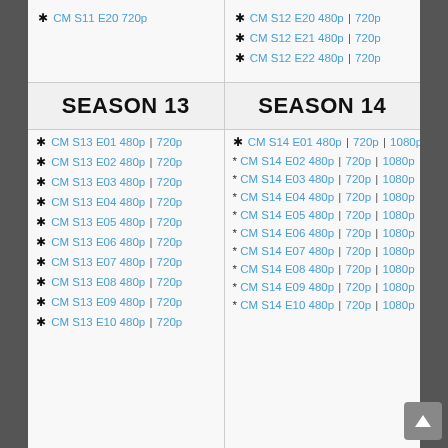* CM S11 E20 720p
* CM S12 E20 480p | 720p
* CM S12 E21 480p | 720p
* CM S12 E22 480p | 720p
SEASON 13
SEASON 14
* CM S13 E01 480p | 720p
* CM S14 E01 480p | 720p | 1080p
* CM S13 E02 480p | 720p
* CM S14 E02 480p | 720p | 1080p
* CM S13 E03 480p | 720p
* CM S14 E03 480p | 720p | 1080p
* CM S13 E04 480p | 720p
* CM S14 E04 480p | 720p | 1080p
* CM S13 E05 480p | 720p
* CM S14 E05 480p | 720p | 1080p
* CM S13 E06 480p | 720p
* CM S14 E06 480p | 720p | 1080p
* CM S13 E07 480p | 720p
* CM S14 E07 480p | 720p | 1080p
* CM S13 E08 480p | 720p
* CM S14 E08 480p | 720p | 1080p
* CM S13 E09 480p | 720p
* CM S14 E09 480p | 720p | 1080p
* CM S13 E10 480p | 720p
* CM S14 E10 480p | 720p | 1080p